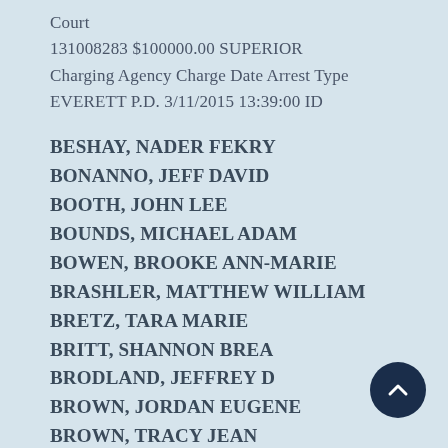Court
131008283 $100000.00 SUPERIOR
Charging Agency Charge Date Arrest Type
EVERETT P.D. 3/11/2015 13:39:00 ID
BESHAY, NADER FEKRY
BONANNO, JEFF DAVID
BOOTH, JOHN LEE
BOUNDS, MICHAEL ADAM
BOWEN, BROOKE ANN-MARIE
BRASHLER, MATTHEW WILLIAM
BRETZ, TARA MARIE
BRITT, SHANNON BREA
BRODLAND, JEFFREY D
BROWN, JORDAN EUGENE
BROWN, TRACY JEAN
BROXTON, LAUREL ELIZABETH
BURLESON, CHAMBRAY L
BURLESON, RANDY HUGH
BUTCHER, JASON MICHAEL